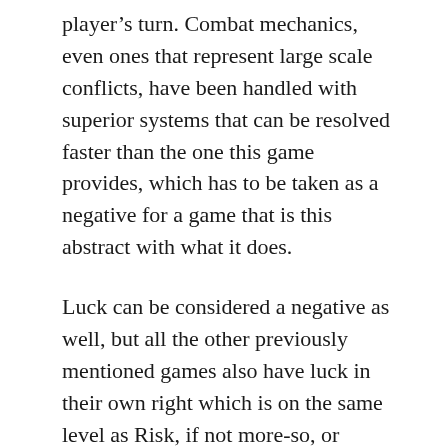player's turn. Combat mechanics, even ones that represent large scale conflicts, have been handled with superior systems that can be resolved faster than the one this game provides, which has to be taken as a negative for a game that is this abstract with what it does.
Luck can be considered a negative as well, but all the other previously mentioned games also have luck in their own right which is on the same level as Risk, if not more-so, or worse. Luck isn't the biggest issue this game has, but it can evoke the feeling that it is due to the nature of combat within the game system, how many rolls are made, and how each roll can become